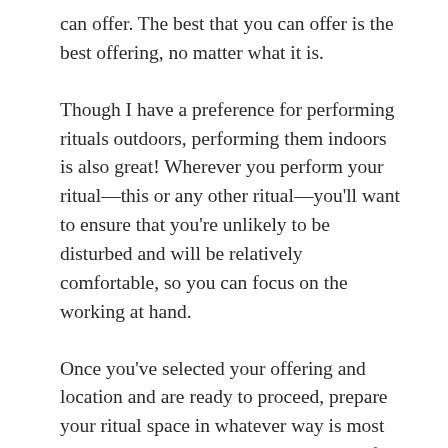can offer. The best that you can offer is the best offering, no matter what it is.
Though I have a preference for performing rituals outdoors, performing them indoors is also great! Wherever you perform your ritual—this or any other ritual—you'll want to ensure that you're unlikely to be disturbed and will be relatively comfortable, so you can focus on the working at hand.
Once you've selected your offering and location and are ready to proceed, prepare your ritual space in whatever way is most appropriate to your practice/works best for you.